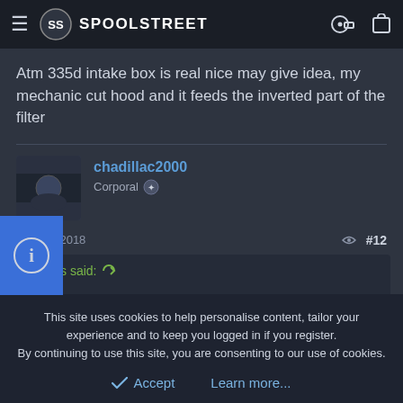SPOOLSTREET
Atm 335d intake box is real nice may give idea, my mechanic cut hood and it feeds the inverted part of the filter
chadillac2000
Corporal
Aug 10, 2018  #12
Torgus said:
This site uses cookies to help personalise content, tailor your experience and to keep you logged in if you register.
By continuing to use this site, you are consenting to our use of cookies.
Accept   Learn more...